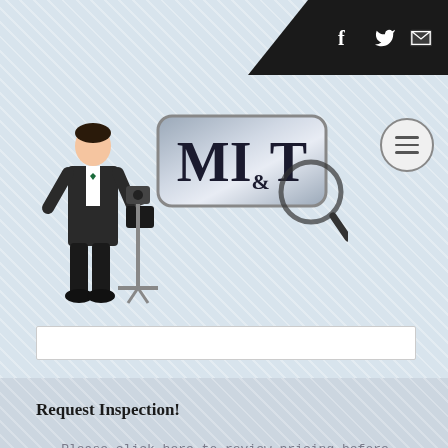[Figure (logo): MI&T home inspection company logo with man in suit holding briefcase and magnifying glass badge]
Request Inspection!
Please click here to review pricing before requesting inspection!
[Figure (screenshot): Bottom navigation bar with Call Us, Schedule, and Pricing buttons]